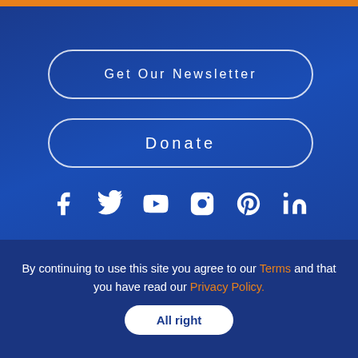Get Our Newsletter
Donate
[Figure (infographic): Social media icons: Facebook, Twitter, YouTube, Instagram, Pinterest, LinkedIn]
COMPANY
About Us
SITES
Shop
By continuing to use this site you agree to our Terms and that you have read our Privacy Policy.
All right